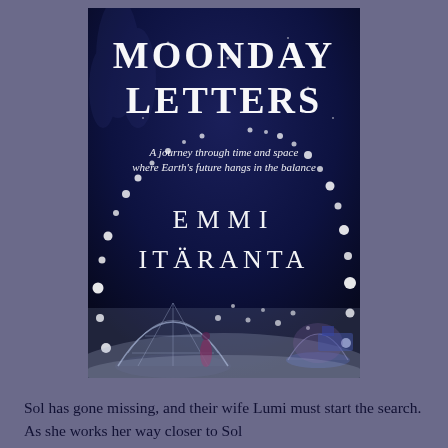[Figure (illustration): Book cover of 'Moonday Letters' by Emmi Itäranta. Dark navy blue background with stars/orbs of light scattered in an arc. Title 'MOONDAY LETTERS' in large white serif letters at top. Subtitle 'A journey through time and space where Earth's future hangs in the balance' in italic white text. Author name 'EMMI ITÄRANTA' in spaced white letters in the center. Bottom shows a moonscape scene with geodesic dome structure and futuristic buildings.]
Sol has gone missing, and their wife Lumi must start the search. As she works her way closer to Sol